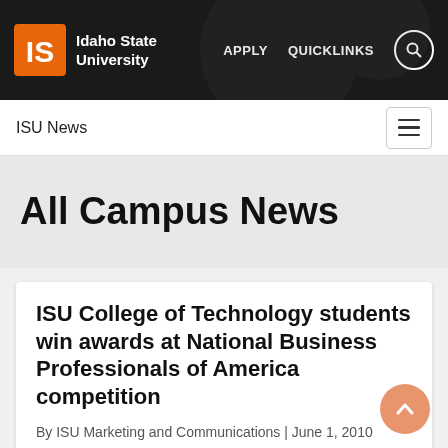Idaho State University | APPLY | QUICKLINKS
ISU News
All Campus News
ISU College of Technology students win awards at National Business Professionals of America competition
By ISU Marketing and Communications | June 1, 2010